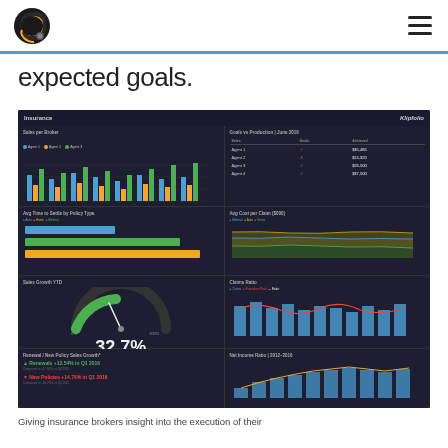expected goals.
[Figure (screenshot): Insurance analytics dashboard (dark theme) showing multiple panels: Sales per Broker grouped bar chart (Agent 1, Agent 2, Agent 3), Goals vs Production table for June 2016 with agents and amounts ($35,485 Agent 1 check, $24,320 Agent 2 X, $26,500 Agent 3 check, $37,500 Agent 4 check), Avg Time to Settle by Policy Type horizontal bar chart (Auto, Home, Medical), Avg Cost per Claim ($000) area chart (Medical, Auto, Home), Sales Growth YTD gauge showing 32.7%, Claims Ratio combo chart, Renewal / New Policy Sales Growth panel showing Renewals +12.54% in Q1 2016 and New Policies +14.76% in Q1 2016, Net Income Ratio 2012-2016 bar chart, Customer Satisfaction donut chart. Powered by Klipfolio.]
Giving insurance brokers insight into the execution of their